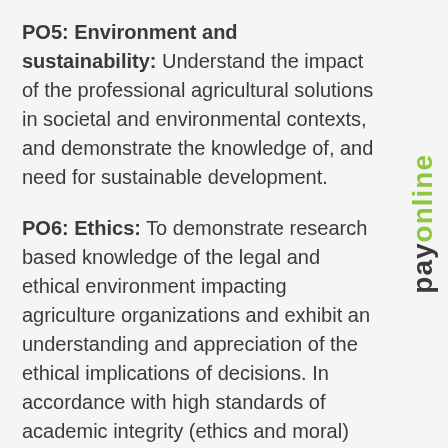PO5: Environment and sustainability: Understand the impact of the professional agricultural solutions in societal and environmental contexts, and demonstrate the knowledge of, and need for sustainable development.
PO6: Ethics: To demonstrate research based knowledge of the legal and ethical environment impacting agriculture organizations and exhibit an understanding and appreciation of the ethical implications of decisions. In accordance with high standards of academic integrity (ethics and moral) both in the profession and in society as a whole. To develop competence to